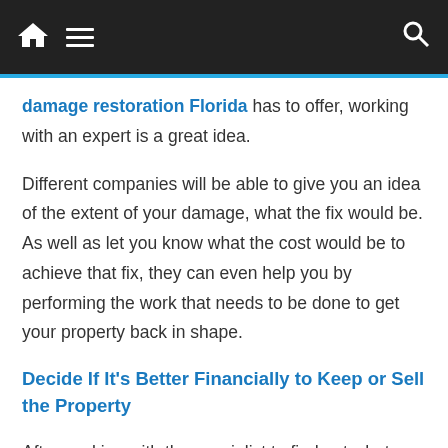Navigation bar with home icon, hamburger menu, and search icon
damage restoration Florida has to offer, working with an expert is a great idea.
Different companies will be able to give you an idea of the extent of your damage, what the fix would be. As well as let you know what the cost would be to achieve that fix, they can even help you by performing the work that needs to be done to get your property back in shape.
Decide If It's Better Financially to Keep or Sell the Property
After working with the specialist to find out what your course of action is, the next thing you should